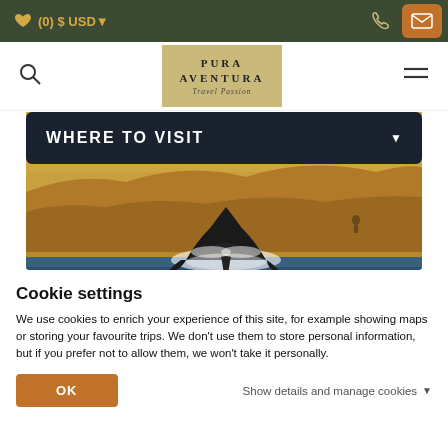(0) $ USD▼
[Figure (logo): Pura Aventura Travel Passion logo on golden background]
WHERE TO VISIT
[Figure (photo): Whale tail fluke breaching water surface in front of rocky cliffs, golden warm tones, person visible in background]
Cookie settings
We use cookies to enrich your experience of this site, for example showing maps or storing your favourite trips. We don't use them to store personal information, but if you prefer not to allow them, we won't take it personally.
OK
Show details and manage cookies